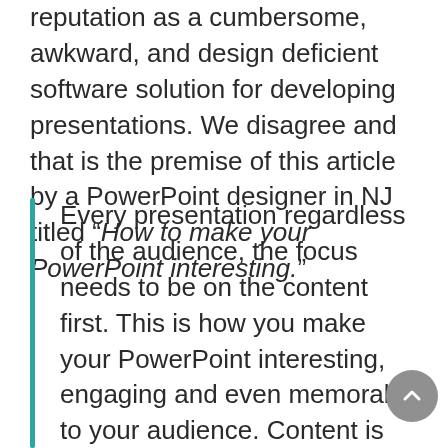reputation as a cumbersome, awkward, and design deficient software solution for developing presentations. We disagree and that is the premise of this article by a PowerPoint designer in NJ titled “How to make your PowerPoint interesting.”
Every presentation regardless of the audience, the focus needs to be on the content first. This is how you make your PowerPoint interesting, engaging and even memorable to your audience. Content is not just the words, the bullets, the boxed text, and